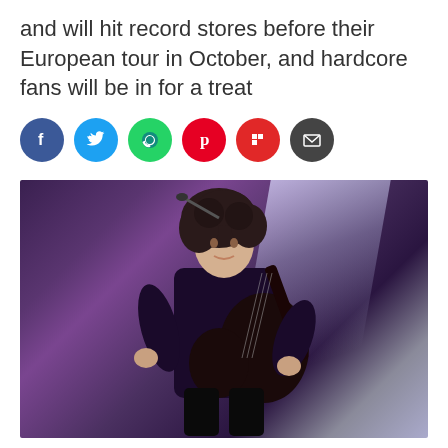and will hit record stores before their European tour in October, and hardcore fans will be in for a treat
[Figure (illustration): Social media share icons: Facebook (blue), Twitter (blue), WhatsApp (dark green), Pinterest (red), Flipboard (red), Email (dark grey)]
[Figure (photo): A musician with wild dark hair playing a black electric guitar on a dimly lit stage with a spotlight beam behind them. The performer is dressed in black and playing in front of a microphone. The stage lighting creates a purple atmospheric glow.]